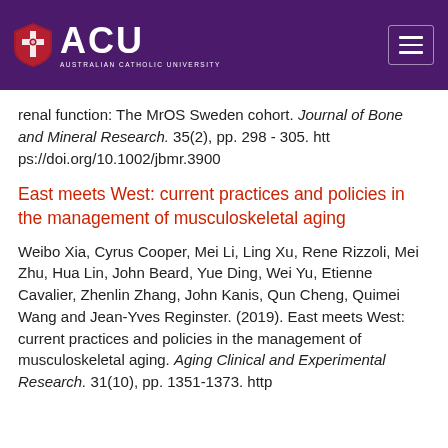[Figure (logo): Australian Catholic University (ACU) header with shield logo, ACU lettering, and hamburger menu icon on purple background]
renal function: The MrOS Sweden cohort. Journal of Bone and Mineral Research. 35(2), pp. 298 - 305. https://doi.org/10.1002/jbmr.3900
East meets West: current practices and policies in the management of musculoskeletal aging
Weibo Xia, Cyrus Cooper, Mei Li, Ling Xu, Rene Rizzoli, Mei Zhu, Hua Lin, John Beard, Yue Ding, Wei Yu, Etienne Cavalier, Zhenlin Zhang, John Kanis, Qun Cheng, Quimei Wang and Jean-Yves Reginster. (2019). East meets West: current practices and policies in the management of musculoskeletal aging. Aging Clinical and Experimental Research. 31(10), pp. 1351-1373. http